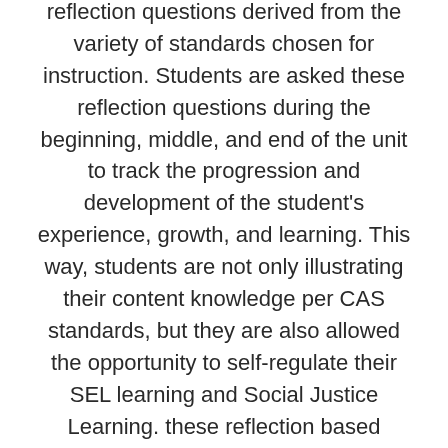reflection questions derived from the variety of standards chosen for instruction. Students are asked these reflection questions during the beginning, middle, and end of the unit to track the progression and development of the student's experience, growth, and learning. This way, students are not only illustrating their content knowledge per CAS standards, but they are also allowed the opportunity to self-regulate their SEL learning and Social Justice Learning. these reflection based inquiries also allow students to directly interact with their own learning, as they easily coincide with essential questions that